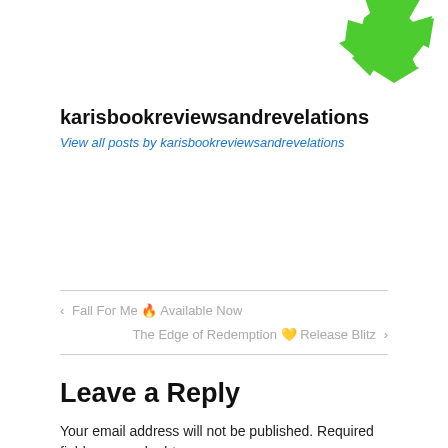[Figure (logo): Green star/asterisk logo in top right corner]
karisbookreviewsandrevelations
View all posts by karisbookreviewsandrevelations
< Fall For Me 🔥 Available Now
The Edge of Redemption 💛 Release Blitz >
Leave a Reply
Your email address will not be published. Required fields are marked *
Comment *